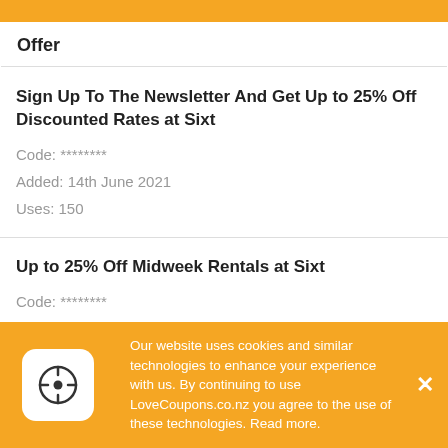Offer
Sign Up To The Newsletter And Get Up to 25% Off Discounted Rates at Sixt
Code: ********
Added: 14th June 2021
Uses: 150
Up to 25% Off Midweek Rentals at Sixt
Code: ********
Added: 14th June 2021
Uses: 135
Save up 30% with Midweek Rentals at Sixt
Our website uses cookies and similar technologies to enhance your experience with us. By continuing to use LoveCoupons.co.nz you agree to the use of these technologies. Read more.